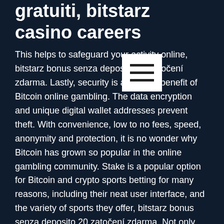gratuiti, bitstarz casino careers
This helps to safeguard your activity online, bitstarz bonus senza deposito 20 zatočení zdarma. Lastly, security is a primary benefit of Bitcoin online gambling. The data encryption and unique digital wallet addresses prevent theft. With convenience, low to no fees, speed, anonymity and protection, it is no wonder why Bitcoin has grown so popular in the online gambling community. Stake is a popular option for Bitcoin and crypto sports betting for many reasons, including their neat user interface, and the variety of sports they offer, bitstarz bonus senza deposito 20 zatočení zdarma. Not only does it feature an enormous range of real-life sports to choose from, including all major soccer premierships and games, but it's also got niche sporting events and